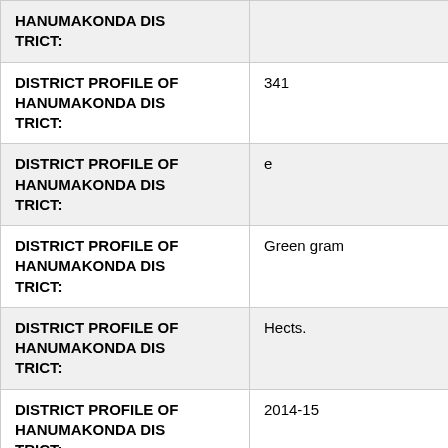| DISTRICT PROFILE OF HANUMAKONDA DISTRICT: |  |
| DISTRICT PROFILE OF HANUMAKONDA DISTRICT: | 341 |
| DISTRICT PROFILE OF HANUMAKONDA DISTRICT: | e |
| DISTRICT PROFILE OF HANUMAKONDA DISTRICT: | Green gram |
| DISTRICT PROFILE OF HANUMAKONDA DISTRICT: | Hects. |
| DISTRICT PROFILE OF HANUMAKONDA DISTRICT: | 2014-15 |
| DISTRICT PROFILE OF HANUMAKONDA DISTRICT: | 87,352 |